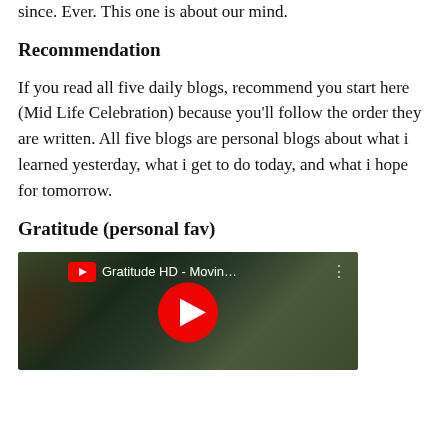since. Ever. This one is about our mind.
Recommendation
If you read all five daily blogs, recommend you start here (Mid Life Celebration) because you'll follow the order they are written. All five blogs are personal blogs about what i learned yesterday, what i get to do today, and what i hope for tomorrow.
Gratitude (personal fav)
[Figure (screenshot): YouTube video thumbnail for 'Gratitude HD - Movin...' showing a nature scene with a red play button in the center]